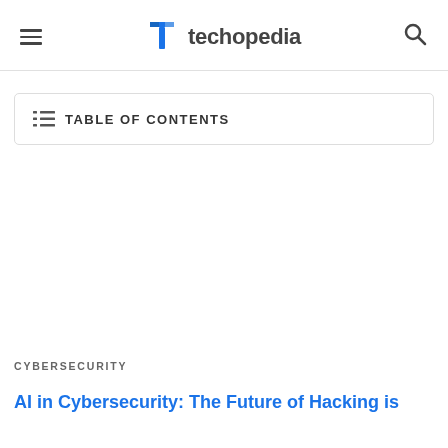techopedia
TABLE OF CONTENTS
CYBERSECURITY
AI in Cybersecurity: The Future of Hacking is